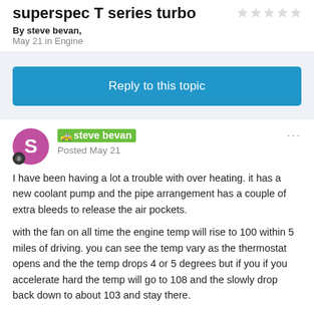superspec T series turbo
By steve bevan, May 21 in Engine
Reply to this topic
steve bevan
Posted May 21
I have been having a lot a trouble with over heating. it has a new coolant pump and the pipe arrangement has a couple of extra bleeds to release the air pockets.
with the fan on all time the engine temp will rise to 100 within 5 miles of driving. you can see the temp vary as the thermostat opens and the the temp drops 4 or 5 degrees but if you if you accelerate hard the temp will go to 108 and the slowly drop back down to about 103 and stay there.